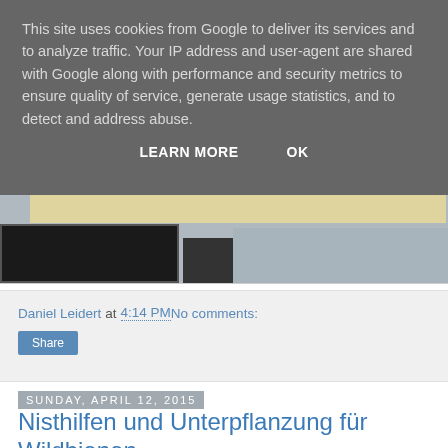This site uses cookies from Google to deliver its services and to analyze traffic. Your IP address and user-agent are shared with Google along with performance and security metrics to ensure quality of service, generate usage statistics, and to detect and address abuse.
LEARN MORE   OK
[Figure (photo): Partial view of a wooden frame or structure, dark and light photo tones, possibly a window or door frame with wooden plank visible at top]
Daniel Leidert at 4:14 PM   No comments:
Share
Sunday, April 12, 2015
Nisthilfen und Unterpflanzung für Wildbienen
Erdbeere, Chili, Paprika, Zucchini, Wassermelone, Kirsche